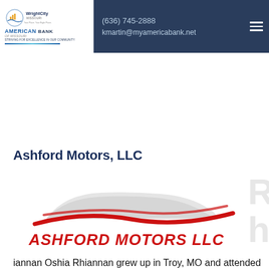(636) 745-2888 | kmartin@myamericabank.net
[Figure (logo): Wright City Missouri logo — circular emblem with text 'WrightCity Missouri']
[Figure (logo): American Bank of Missouri logo — text reads 'AMERICAN BANK OF MISSOURI' with tagline 'STRIVING FOR EXCELLENCE IN OUR COMMUNITY' and blue underline]
Ashford Motors, LLC
[Figure (logo): Ashford Motors LLC logo — red swoosh lines with gray car silhouette and red italic bold text 'ASHFORD MOTORS LLC']
Rhiannan Oshia Rhiannan grew up in Troy, MO and attended Troy Buchanan High School where she met her future husband Steve. Rhiannan worked several years as an office manager at Buchheit Supply, Inc